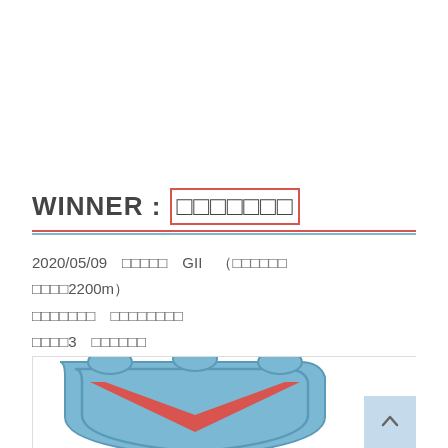WINNER : □□□□□□□
2020/05/09 □□□□□ GII ( □□□□□□ □□□□2200m ) □□□□□□□ □□□□□□□□ □□□□3 □□□□□□
[Figure (logo): Shield/crest logo with blue background and red chevron/V shape]